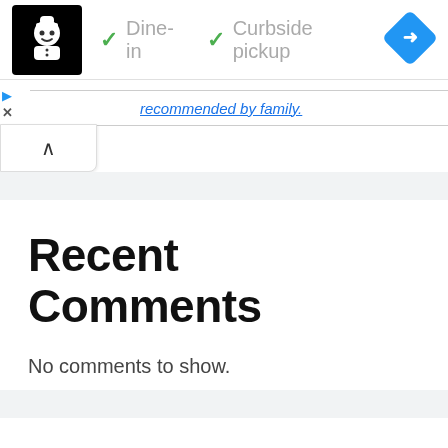[Figure (logo): Black square logo with white chef/robot icon]
✓ Dine-in ✓ Curbside pickup
[Figure (other): Blue diamond navigation/directions icon]
recommended by family.
Recent Comments
No comments to show.